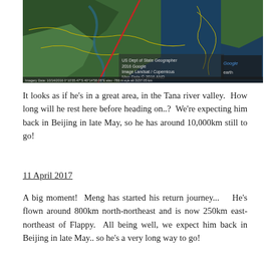[Figure (map): Google Earth satellite map showing the Tana river valley area in Kenya/East Africa, with a red diagonal line indicating a flight path. Includes Google Earth branding and US Dept of State Geographer / 2016 Google imagery credits.]
It looks as if he's in a great area, in the Tana river valley.  How long will he rest here before heading on..?  We're expecting him back in Beijing in late May, so he has around 10,000km still to go!
11 April 2017
A big moment!  Meng has started his return journey...  He's flown around 800km north-northeast and is now 250km east-northeast of Flappy.  All being well, we expect him back in Beijing in late May.. so he's a very long way to go!